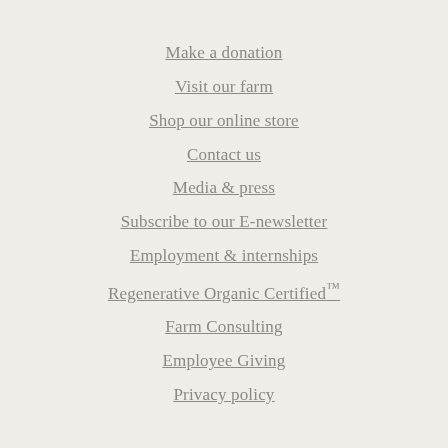Make a donation
Visit our farm
Shop our online store
Contact us
Media & press
Subscribe to our E-newsletter
Employment & internships
Regenerative Organic Certified™
Farm Consulting
Employee Giving
Privacy policy